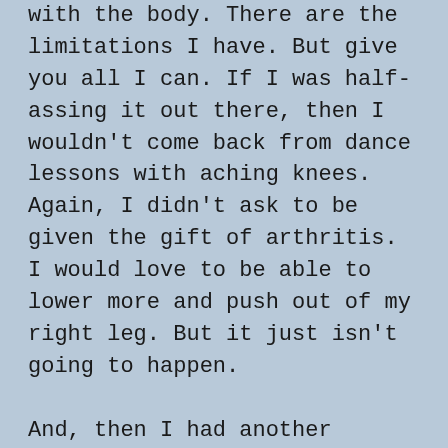with the body. There are the limitations I have. But give you all I can. If I was half-assing it out there, then I wouldn't come back from dance lessons with aching knees. Again, I didn't ask to be given the gift of arthritis. I would love to be able to lower more and push out of my right leg. But it just isn't going to happen.

And, then I had another realization. Maybe I am just being a bit hyper sensitive to something that was meant as a joke. But it also tells me I'm just not at a point where I'm ready to deal with more of that. At the end of the day, our personalities just don't mesh well enough to form an effective student/teacher relationship. It has nothing to do with her skill as a teacher. It is like coaches I've worked with. Sometimes it clicks and you get a very productive lesson. Other times,